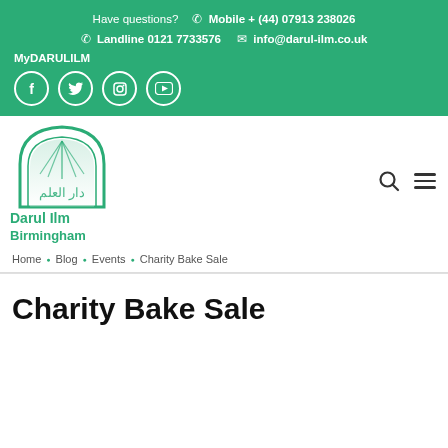Have questions? Mobile + (44) 07913 238026 Landline 0121 7733576 info@darul-ilm.co.uk MyDARULILM
[Figure (logo): Darul Ilm Birmingham logo - mosque arch shape with Arabic text and rays of light, teal/green color]
Home · Blog · Events · Charity Bake Sale
Charity Bake Sale